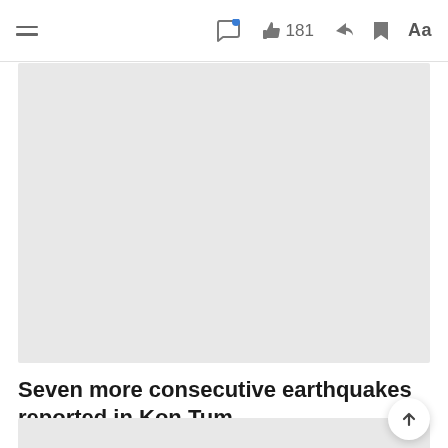Navigation bar with hamburger menu, comment icon, like 181, share, bookmark, and Aa font controls
[Figure (photo): Large image placeholder (light grey rectangle) — article photo for the earthquake story, content not loaded]
Seven more consecutive earthquakes reported in Kon Tum
NEWS
[Figure (photo): Bottom image strip placeholder (light grey) — partially visible below the article title]